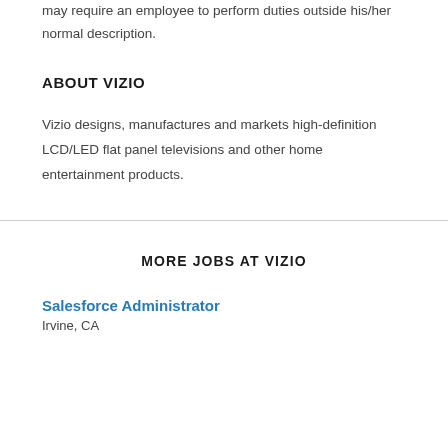may require an employee to perform duties outside his/her normal description.
ABOUT VIZIO
Vizio designs, manufactures and markets high-definition LCD/LED flat panel televisions and other home entertainment products.
MORE JOBS AT VIZIO
Salesforce Administrator
Irvine, CA